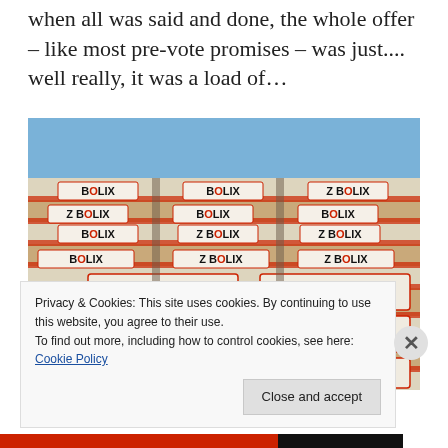when all was said and done, the whole offer – like most pre-vote promises – was just.... well really, it was a load of…
[Figure (photo): Stacked bags of BOLIX brand building material/adhesive product in a warehouse or on a truck, bags visible from multiple angles showing BOLIX and Z BOLIX branding in red and white.]
Privacy & Cookies: This site uses cookies. By continuing to use this website, you agree to their use.
To find out more, including how to control cookies, see here: Cookie Policy